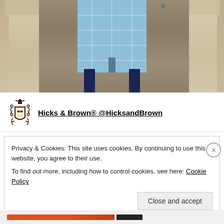[Figure (photo): A person wearing a light blue windowpane check coat with dark navy blue leggings, standing in front of old stone architectural columns and a wooden door background.]
[Figure (logo): Hicks & Brown heraldic crest logo in dark brown/black — features a shield, bird, and decorative scrollwork.]
Hicks & Brown® @HicksandBrown
Privacy & Cookies: This site uses cookies. By continuing to use this website, you agree to their use.
To find out more, including how to control cookies, see here: Cookie Policy
Close and accept